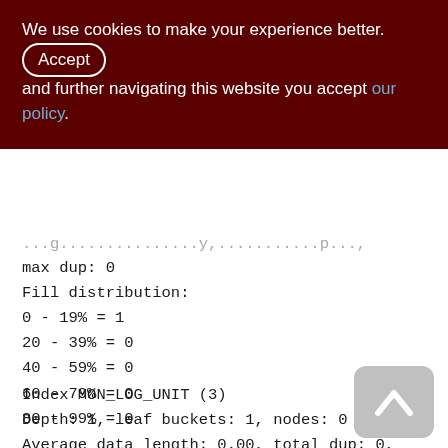We use cookies to make your experience better. By accepting and further navigating this website you accept our policy.
max dup: 0
Fill distribution:
0 - 19% = 1
20 - 39% = 0
40 - 59% = 0
60 - 79% = 0
80 - 99% = 0
Index MON_LOG_UNIT (3)
Depth: 1, leaf buckets: 1, nodes: 0
Average data length: 0.00, total dup: 0,
max dup: 0